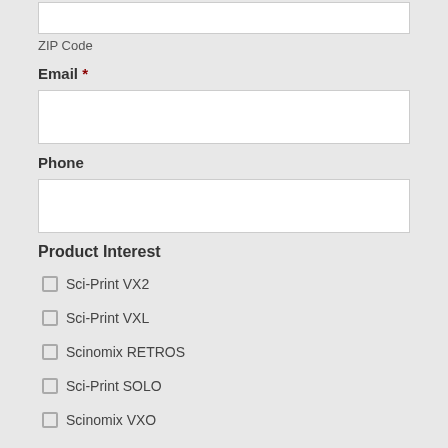ZIP Code
Email *
Phone
Product Interest
Sci-Print VX2
Sci-Print VXL
Scinomix RETROS
Sci-Print SOLO
Scinomix VXO